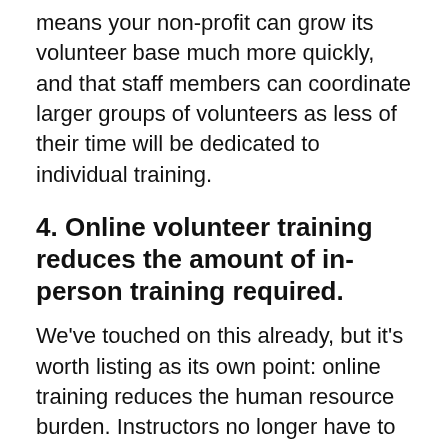means your non-profit can grow its volunteer base much more quickly, and that staff members can coordinate larger groups of volunteers as less of their time will be dedicated to individual training.
4. Online volunteer training reduces the amount of in-person training required.
We've touched on this already, but it's worth listing as its own point: online training reduces the human resource burden. Instructors no longer have to deliver the training themselves, they only have to check in with volunteers to be sure they